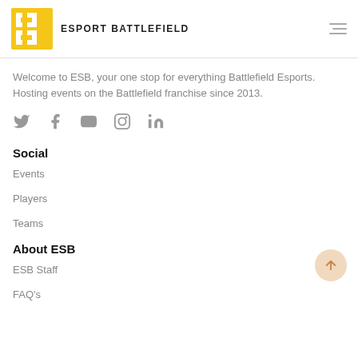ESPORT BATTLEFIELD
Welcome to ESB, your one stop for everything Battlefield Esports. Hosting events on the Battlefield franchise since 2013.
[Figure (illustration): Social media icons: Twitter, Facebook, YouTube, Instagram, LinkedIn]
Social
Events
Players
Teams
About ESB
ESB Staff
FAQ's